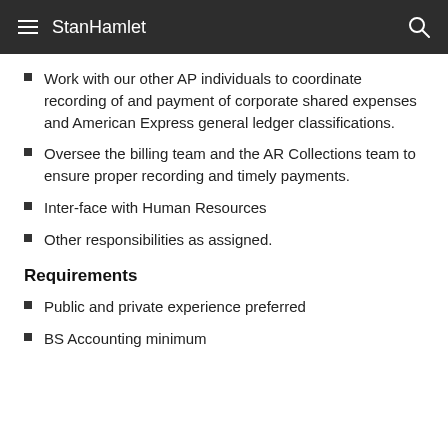StanHamlet
Work with our other AP individuals to coordinate recording of and payment of corporate shared expenses and American Express general ledger classifications.
Oversee the billing team and the AR Collections team to ensure proper recording and timely payments.
Inter-face with Human Resources
Other responsibilities as assigned.
Requirements
Public and private experience preferred
BS Accounting minimum